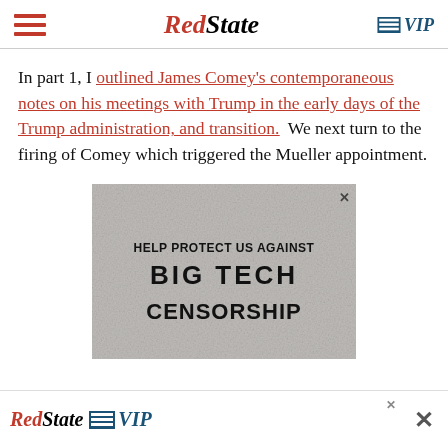RedState | VIP
In part 1, I outlined James Comey’s contemporaneous notes on his meetings with Trump in the early days of the Trump administration, and transition.  We next turn to the firing of Comey which triggered the Mueller appointment.
[Figure (advertisement): Advertisement banner: HELP PROTECT US AGAINST BIG TECH CENSORSHIP with RedState VIP branding]
[Figure (advertisement): Bottom banner advertisement for RedState VIP]